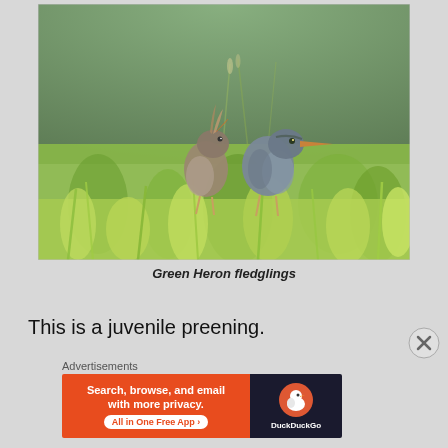[Figure (photo): Two juvenile Green Heron fledglings standing in bright green grass. The birds have fluffy, disheveled plumage in gray-brown tones with orange beaks. The background is a blurred green foliage.]
Green Heron fledglings
This is a juvenile preening.
Advertisements
[Figure (screenshot): DuckDuckGo advertisement banner: orange left panel reads 'Search, browse, and email with more privacy. All in One Free App' and dark right panel shows DuckDuckGo logo and brand name.]